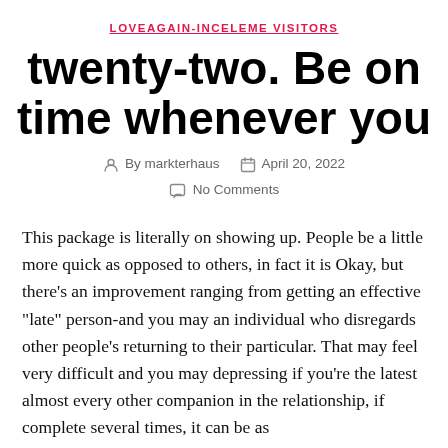LOVEAGAIN-INCELEME VISITORS
twenty-two. Be on time whenever you
By markterhaus   April 20, 2022   No Comments
This package is literally on showing up. People be a little more quick as opposed to others, in fact it is Okay, but there’s an improvement ranging from getting an effective “late” person-and you may an individual who disregards other people’s returning to their particular. That may feel very difficult and you may depressing if you’re the latest almost every other companion in the relationship, if complete several times, it can be as